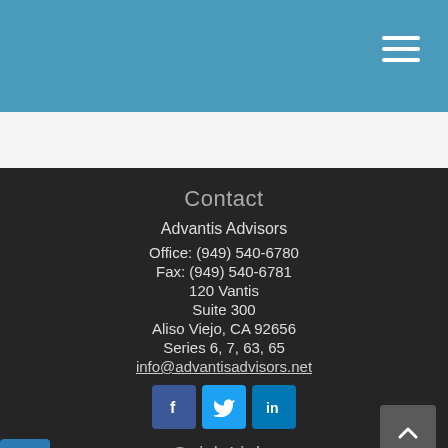[Figure (other): Blue header bar with hamburger menu icon (three horizontal white lines) in the top right corner]
Contact
Advantis Advisors
Office: (949) 540-6780
Fax: (949) 540-6781
120 Vantis
Suite 300
Aliso Viejo, CA 92656
Series 6, 7, 63, 65
info@advantisadvisors.net
[Figure (other): Three social media icons: Facebook (f), Twitter (bird), LinkedIn (in)]
Quick Links
Retirement